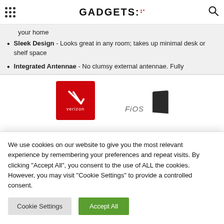GADGETS:
your home
Sleek Design - Looks great in any room; takes up minimal desk or shelf space
Integrated Antennae - No clumsy external antennae. Fully
[Figure (logo): Verizon red square logo with white checkmark and 'verizon' text]
[Figure (screenshot): FiOS text with partial dark device shape on right]
We use cookies on our website to give you the most relevant experience by remembering your preferences and repeat visits. By clicking "Accept All", you consent to the use of ALL the cookies. However, you may visit "Cookie Settings" to provide a controlled consent.